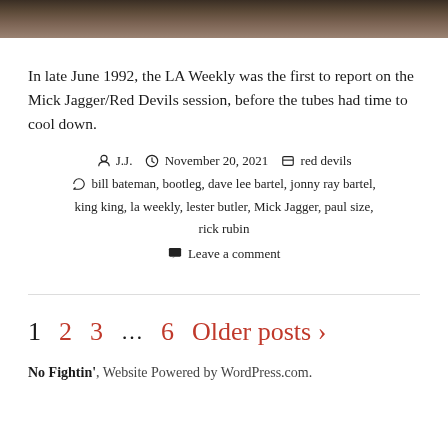[Figure (photo): Cropped top portion of a photo showing dark/blurred background scene]
In late June 1992, the LA Weekly was the first to report on the Mick Jagger/Red Devils session, before the tubes had time to cool down.
J.J.  November 20, 2021  red devils  bill bateman, bootleg, dave lee bartel, jonny ray bartel, king king, la weekly, lester butler, Mick Jagger, paul size, rick rubin  Leave a comment
1  2  3  ...  6  Older posts >
No Fightin', Website Powered by WordPress.com.